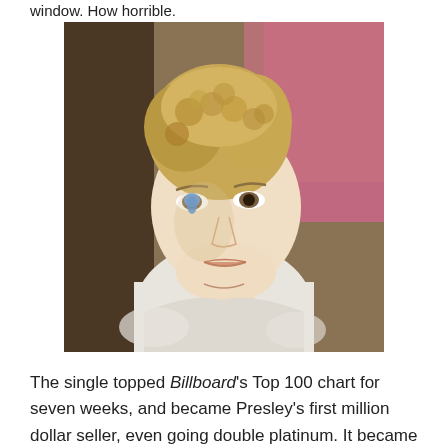window. How horrible.
[Figure (photo): A young blonde woman with curly upswept hair, wearing a white dress, with a blue teardrop emoji on her cheek, looking upward. Pink background visible behind her.]
The single topped Billboard's Top 100 chart for seven weeks, and became Presley's first million dollar seller, even going double platinum. It became a staple of